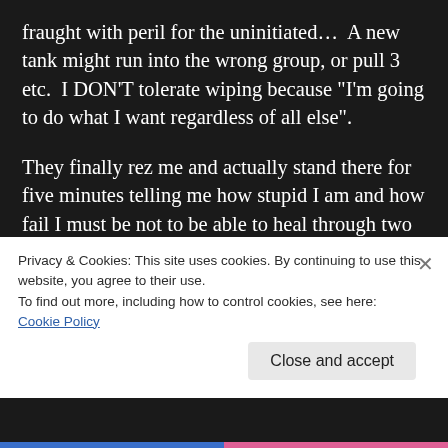fraught with peril for the uninitiated...  A new tank might run into the wrong group, or pull 3 etc.  I DON'T tolerate wiping because “I’m going to do what I want regardless of all else”.

They finally rez me and actually stand there for five minutes telling me how stupid I am and how fail I must be not to be able to heal through two spellflingers wailing away on me... how it’s just a game and it’s past my bed time etc and so forth.  Some of it was even sexist
Privacy & Cookies: This site uses cookies. By continuing to use this website, you agree to their use.
To find out more, including how to control cookies, see here:
Cookie Policy